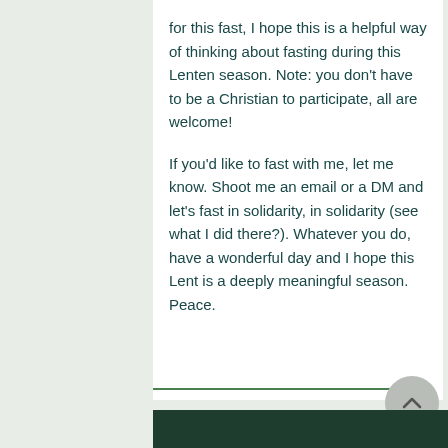for this fast, I hope this is a helpful way of thinking about fasting during this Lenten season. Note: you don't have to be a Christian to participate, all are welcome!

If you'd like to fast with me, let me know. Shoot me an email or a DM and let's fast in solidarity, in solidarity (see what I did there?). Whatever you do, have a wonderful day and I hope this Lent is a deeply meaningful season. Peace.